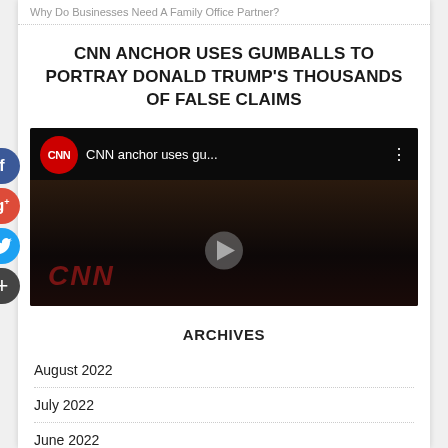Why Do Businesses Need A Family Office Partner?
CNN ANCHOR USES GUMBALLS TO PORTRAY DONALD TRUMP'S THOUSANDS OF FALSE CLAIMS
[Figure (screenshot): CNN YouTube video thumbnail showing CNN logo, title 'CNN anchor uses gu...' and dark background with play button and CNN watermark]
ARCHIVES
August 2022
July 2022
June 2022